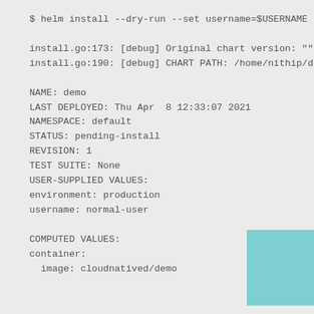$ helm install --dry-run --set username=$USERNAME -f p

install.go:173: [debug] Original chart version: ""
install.go:190: [debug] CHART PATH: /home/nithip/demo/

NAME: demo
LAST DEPLOYED: Thu Apr  8 12:33:07 2021
NAMESPACE: default
STATUS: pending-install
REVISION: 1
TEST SUITE: None
USER-SUPPLIED VALUES:
environment: production
username: normal-user

COMPUTED VALUES:
container:
  image: cloudnatived/demo